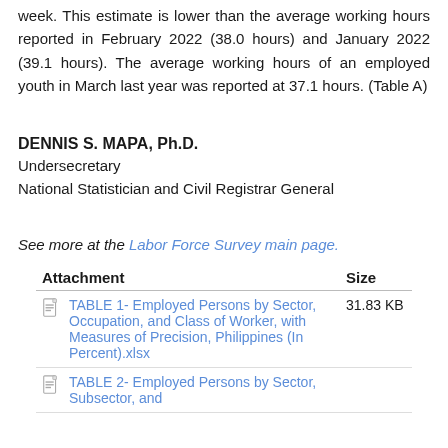week. This estimate is lower than the average working hours reported in February 2022 (38.0 hours) and January 2022 (39.1 hours). The average working hours of an employed youth in March last year was reported at 37.1 hours. (Table A)
DENNIS S. MAPA, Ph.D.
Undersecretary
National Statistician and Civil Registrar General
See more at the Labor Force Survey main page.
| Attachment | Size |
| --- | --- |
| TABLE 1- Employed Persons by Sector, Occupation, and Class of Worker, with Measures of Precision, Philippines (In Percent).xlsx | 31.83 KB |
| TABLE 2- Employed Persons by Sector, Subsector, and |  |